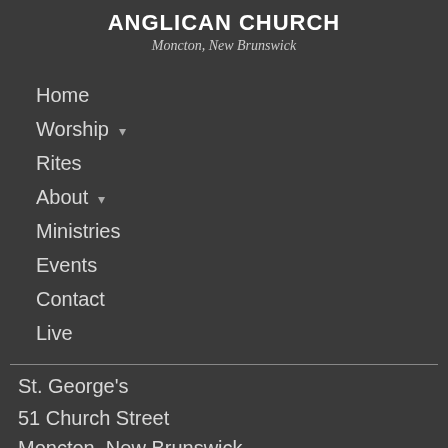ANGLICAN CHURCH
Moncton, New Brunswick
Home
Worship ▾
Rites
About ▾
Ministries
Events
Contact
Live
St. George's
51 Church Street
Moncton, New Brunswick
E1C 4Z3
View Map